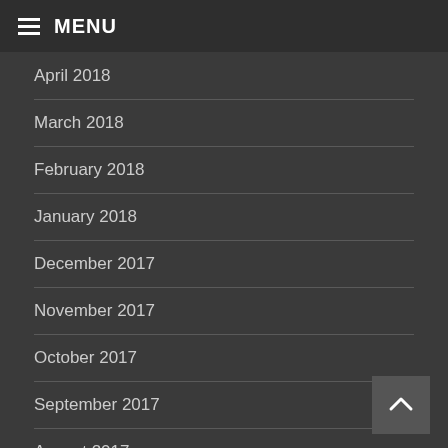MENU
April 2018
March 2018
February 2018
January 2018
December 2017
November 2017
October 2017
September 2017
August 2017
July 2017